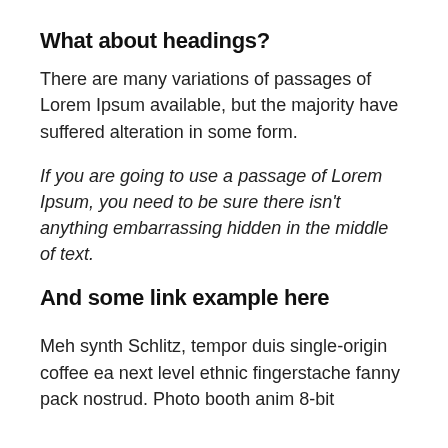What about headings?
There are many variations of passages of Lorem Ipsum available, but the majority have suffered alteration in some form.
If you are going to use a passage of Lorem Ipsum, you need to be sure there isn't anything embarrassing hidden in the middle of text.
And some link example here
Meh synth Schlitz, tempor duis single-origin coffee ea next level ethnic fingerstache fanny pack nostrud. Photo booth anim 8-bit